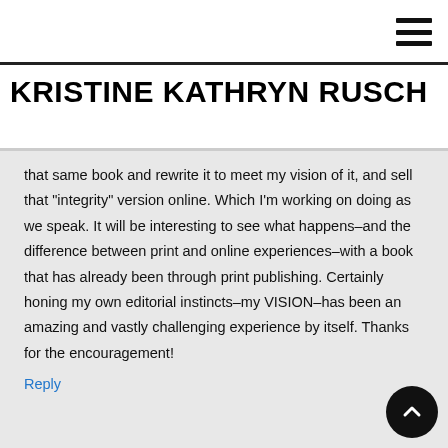KRISTINE KATHRYN RUSCH
that same book and rewrite it to meet my vision of it, and sell that "integrity" version online. Which I'm working on doing as we speak. It will be interesting to see what happens–and the difference between print and online experiences–with a book that has already been through print publishing. Certainly honing my own editorial instincts–my VISION–has been an amazing and vastly challenging experience by itself. Thanks for the encouragement!
Reply